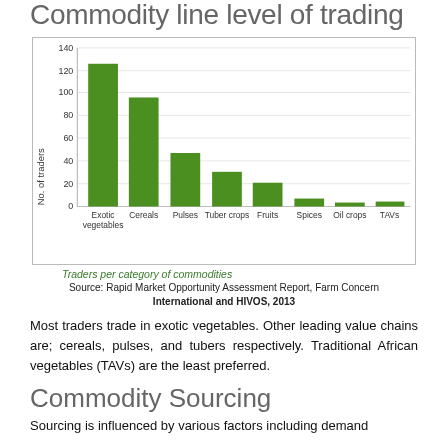Commodity line level of trading
[Figure (bar-chart): Traders per category of commodities]
Traders per category of commodities
Source: Rapid Market Opportunity Assessment Report, Farm Concern International and HIVOS, 2013
Most traders trade in exotic vegetables. Other leading value chains are; cereals, pulses, and tubers respectively. Traditional African vegetables (TAVs) are the least preferred.
Commodity Sourcing
Sourcing is influenced by various factors including demand